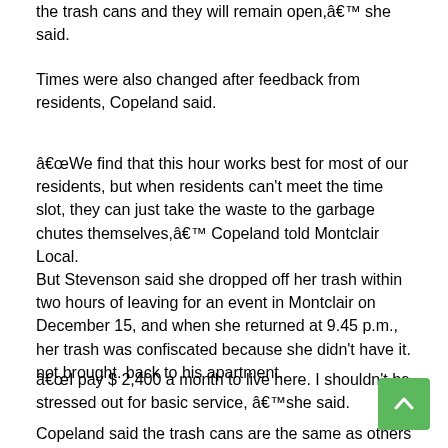the trash cans and they will remain open,â€™ she said.
Times were also changed after feedback from residents, Copeland said.
â€œWe find that this hour works best for most of our residents, but when residents can't meet the time slot, they can just take the waste to the garbage chutes themselves,â€™ Copeland told Montclair Local.
But Stevenson said she dropped off her trash within two hours of leaving for an event in Montclair on December 15, and when she returned at 9.45 p.m., her trash was confiscated because she didn't have it. not brought. back to his apartment.
â€œI pay $ 2,400 a month to live here. I shouldn't be stressed out for basic service, â€™she said.
Copeland said the trash cans are the same as others used nationwide, “because the average apartment resident produces